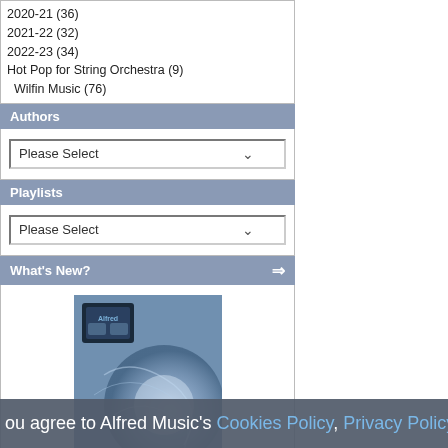2020-21 (36)
2021-22 (32)
2022-23 (34)
Hot Pop for String Orchestra (9)
Wilfin Music (76)
Authors
Please Select
Playlists
Please Select
What's New?
[Figure (illustration): Album cover for All My Trials - blue toned image with Alfred logo]
All My Trials (Medium High Voice), from Folk Songs for Solo Singers, Vol. 2
$4.99
Information
Product Request
you agree to Alfred Music's Cookies Policy, Privacy Policy, and Terms